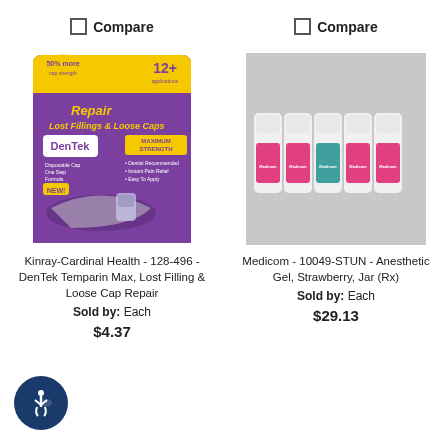Compare
Compare
[Figure (photo): DenTek Temparin Max Lost Filling & Loose Cap Repair product package - purple and yellow packaging]
[Figure (photo): Medicom Anesthetic Gel Strawberry Jar - five small white tubes/jars with pink and teal labels]
Kinray-Cardinal Health - 128-496 - DenTek Temparin Max, Lost Filling & Loose Cap Repair
Sold by: Each
$4.37
Medicom - 10049-STUN - Anesthetic Gel, Strawberry, Jar (Rx)
Sold by: Each
$29.13